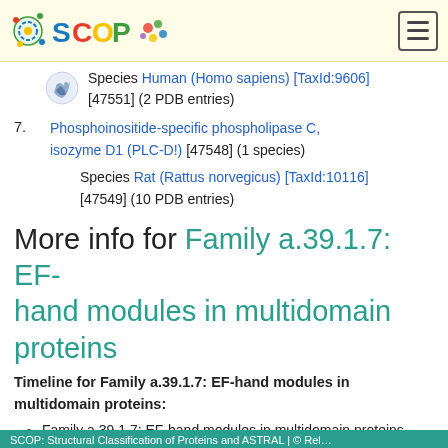SCOP logo and navigation
Species Human (Homo sapiens) [TaxId:9606] [47551] (2 PDB entries)
7. Phosphoinositide-specific phospholipase C, isozyme D1 (PLC-D!) [47548] (1 species)
Species Rat (Rattus norvegicus) [TaxId:10116] [47549] (10 PDB entries)
More info for Family a.39.1.7: EF-hand modules in multidomain proteins
Timeline for Family a.39.1.7: EF-hand modules in multidomain proteins:
Family a.39.1.7: EF-hand modules in multidomain proteins appears in SCOP 1.57
Family a.39.1.7: EF-hand modules in multidomain proteins appears in the current release, SCOPe 2.08
SCOP: Structural Classification of Proteins and ASTRAL | c Rel...